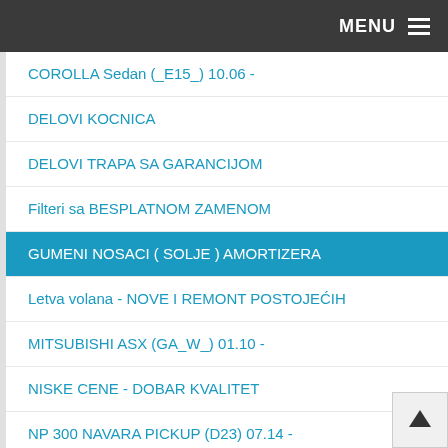MENU
COROLLA Sedan (_E15_) 10.06 -
DELOVI KOCNICA
DELOVI TRAPA SA GARANCIJOM
Filteri sa BESPLATNOM ZAMENOM
GUMENI NOSACI ( SOLJE ) AMORTIZERA
Letva volana - NOVE I REMONT POSTOJEĆIH
MITSUBISHI ASX (GA_W_) 01.10 -
NISKE CENE - DOBAR KVALITET
NP 300 NAVARA PICKUP (D23) 07.14 -
Opruge po proizvođaču